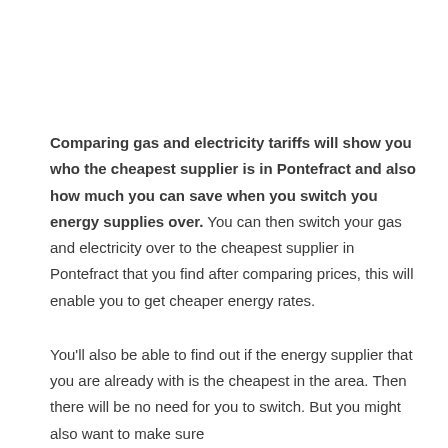Comparing gas and electricity tariffs will show you who the cheapest supplier is in Pontefract and also how much you can save when you switch you energy supplies over. You can then switch your gas and electricity over to the cheapest supplier in Pontefract that you find after comparing prices, this will enable you to get cheaper energy rates.
You'll also be able to find out if the energy supplier that you are already with is the cheapest in the area. Then there will be no need for you to switch. But you might also want to make sure